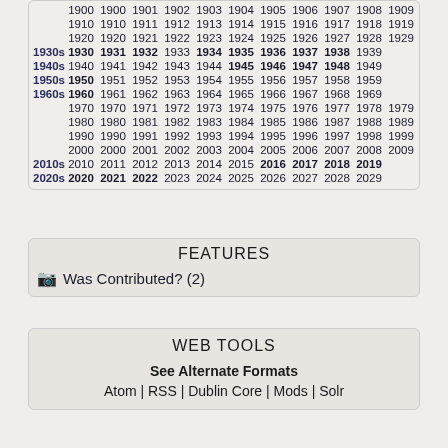| Decade | Year0 | Year1 | Year2 | Year3 | Year4 | Year5 | Year6 | Year7 | Year8 | Year9 |
| --- | --- | --- | --- | --- | --- | --- | --- | --- | --- | --- |
|  | 1900 | 1901 | 1902 | 1903 | 1904 | 1905 | 1906 | 1907 | 1908 | 1909 |
|  | 1910 | 1911 | 1912 | 1913 | 1914 | 1915 | 1916 | 1917 | 1918 | 1919 |
|  | 1920 | 1921 | 1922 | 1923 | 1924 | 1925 | 1926 | 1927 | 1928 | 1929 |
| 1930s | 1930 | 1931 | 1932 | 1933 | 1934 | 1935 | 1936 | 1937 | 1938 | 1939 |
| 1940s | 1940 | 1941 | 1942 | 1943 | 1944 | 1945 | 1946 | 1947 | 1948 | 1949 |
| 1950s | 1950 | 1951 | 1952 | 1953 | 1954 | 1955 | 1956 | 1957 | 1958 | 1959 |
| 1960s | 1960 | 1961 | 1962 | 1963 | 1964 | 1965 | 1966 | 1967 | 1968 | 1969 |
|  | 1970 | 1971 | 1972 | 1973 | 1974 | 1975 | 1976 | 1977 | 1978 | 1979 |
|  | 1980 | 1981 | 1982 | 1983 | 1984 | 1985 | 1986 | 1987 | 1988 | 1989 |
|  | 1990 | 1991 | 1992 | 1993 | 1994 | 1995 | 1996 | 1997 | 1998 | 1999 |
|  | 2000 | 2001 | 2002 | 2003 | 2004 | 2005 | 2006 | 2007 | 2008 | 2009 |
| 2010s | 2010 | 2011 | 2012 | 2013 | 2014 | 2015 | 2016 | 2017 | 2018 | 2019 |
| 2020s | 2020 | 2021 | 2022 | 2023 | 2024 | 2025 | 2026 | 2027 | 2028 | 2029 |
FEATURES
Was Contributed? (2)
WEB TOOLS
See Alternate Formats
Atom | RSS | Dublin Core | Mods | Solr